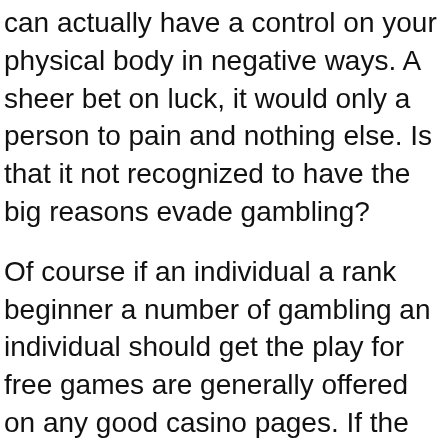can actually have a control on your physical body in negative ways. A sheer bet on luck, it would only a person to pain and nothing else. Is that it not recognized to have the big reasons evade gambling?
Of course if an individual a rank beginner a number of gambling an individual should get the play for free games are generally offered on any good casino pages. If the site you are in does not offer any free play then pay a visit to another site that does have this to be had. And then play some on the games to familiarize yourself with your game is played. Permits you to look at out what games is available on the. It also enables you to check out the odds too. It would benefit to be able to study lots of the rules of the sport before start to play so hand calculators learn when you actually play one